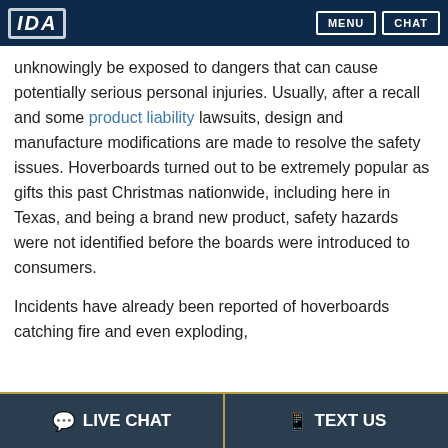IDA | MENU | CHAT
unknowingly be exposed to dangers that can cause potentially serious personal injuries. Usually, after a recall and some product liability lawsuits, design and manufacture modifications are made to resolve the safety issues. Hoverboards turned out to be extremely popular as gifts this past Christmas nationwide, including here in Texas, and being a brand new product, safety hazards were not identified before the boards were introduced to consumers.
Incidents have already been reported of hoverboards catching fire and even exploding,
💬 LIVE CHAT   📱 TEXT US